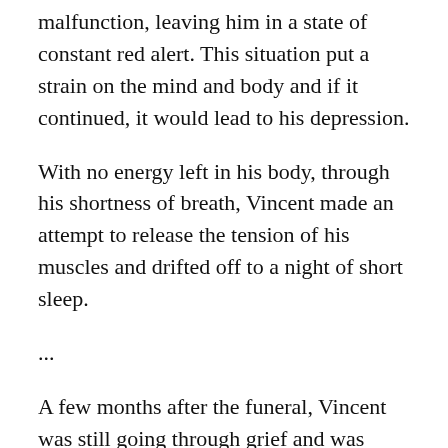malfunction, leaving him in a state of constant red alert. This situation put a strain on the mind and body and if it continued, it would lead to his depression.
With no energy left in his body, through his shortness of breath, Vincent made an attempt to release the tension of his muscles and drifted off to a night of short sleep.
...
A few months after the funeral, Vincent was still going through grief and was strongly convinced that he would never get over the loss of Jaime. More than learning how to move on, his desire screamed to continue nurturing his love.